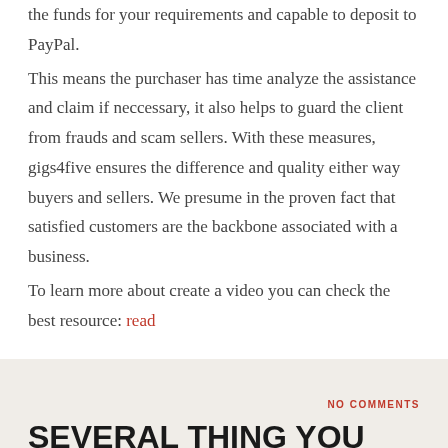the funds for your requirements and capable to deposit to PayPal.
This means the purchaser has time analyze the assistance and claim if neccessary, it also helps to guard the client from frauds and scam sellers. With these measures, gigs4five ensures the difference and quality either way buyers and sellers. We presume in the proven fact that satisfied customers are the backbone associated with a business.
To learn more about create a video you can check the best resource: read
NO COMMENTS
SEVERAL THING YOU NEED TO KNOW ABOUT GIGS4FIVE